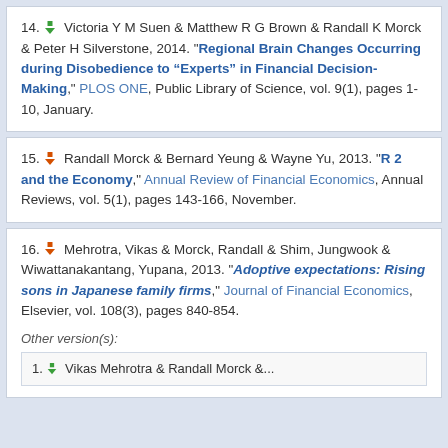14. [download icon] Victoria Y M Suen & Matthew R G Brown & Randall K Morck & Peter H Silverstone, 2014. "Regional Brain Changes Occurring during Disobedience to “Experts” in Financial Decision-Making," PLOS ONE, Public Library of Science, vol. 9(1), pages 1-10, January.
15. [download icon] Randall Morck & Bernard Yeung & Wayne Yu, 2013. "R 2 and the Economy," Annual Review of Financial Economics, Annual Reviews, vol. 5(1), pages 143-166, November.
16. [download icon] Mehrotra, Vikas & Morck, Randall & Shim, Jungwook & Wiwattanakantang, Yupana, 2013. "Adoptive expectations: Rising sons in Japanese family firms," Journal of Financial Economics, Elsevier, vol. 108(3), pages 840-854.
Other version(s):
1. [download icon] Vikas Mehrotra & Randall Morck &...